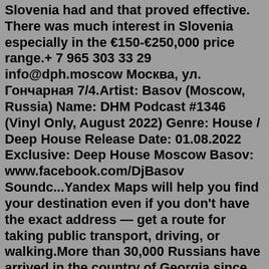Slovenia had and that proved effective. There was much interest in Slovenia especially in the €150-€250,000 price range.+ 7 965 303 33 29 info@dph.moscow Москва, ул. Гончарная 7/4.Artist: Basov (Moscow, Russia) Name: DHM Podcast #1346 (Vinyl Only, August 2022) Genre: House / Deep House Release Date: 01.08.2022 Exclusive: Deep House Moscow Basov: www.facebook.com/DjBasov Soundc...Yandex Maps will help you find your destination even if you don't have the exact address — get a route for taking public transport, driving, or walking.More than 30,000 Russians have arrived in the country of Georgia since Russia invaded Ukraine. Russians are fleeing not war, but their own government. And they say they can't go back. MARY LOUISE ...Sputnik International is a global news agency keeping you updated on all the latest world news 24/7. Browse Sputnik for breaking news and top stories on politics, economy, social media and the most viral trends.Oct 15, 2015 · Jun 14, 2017. Original: Oct 15, 2015. Say you're filming a